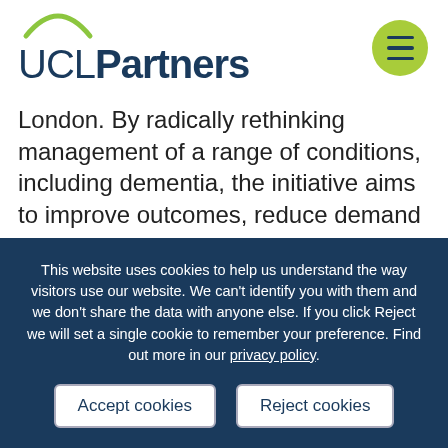[Figure (logo): UCLPartners logo with green arc above UCL text, and hamburger menu button in green circle top right]
London. By radically rethinking management of a range of conditions, including dementia, the initiative aims to improve outcomes, reduce demand on the NHS and improve engagement with people’s own health.

The initiative, a result of a partnership
This website uses cookies to help us understand the way visitors use our website. We can't identify you with them and we don't share the data with anyone else. If you click Reject we will set a single cookie to remember your preference. Find out more in our privacy policy.
Accept cookies
Reject cookies